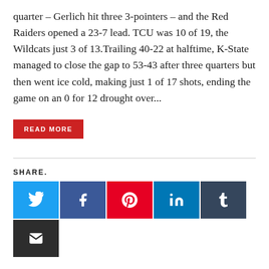quarter – Gerlich hit three 3-pointers – and the Red Raiders opened a 23-7 lead. TCU was 10 of 19, the Wildcats just 3 of 13.Trailing 40-22 at halftime, K-State managed to close the gap to 53-43 after three quarters but then went ice cold, making just 1 of 17 shots, ending the game on an 0 for 12 drought over...
READ MORE
SHARE.